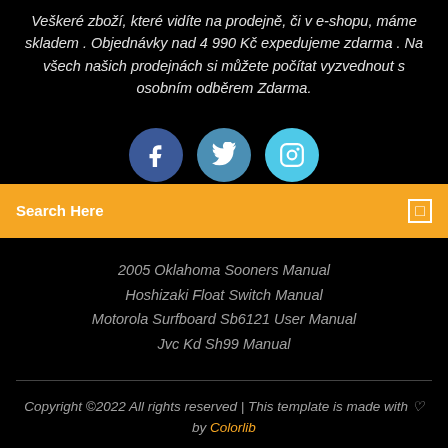Veškeré zboží, které vidíte na prodejně, či v e-shopu, máme skladem . Objednávky nad 4 990 Kč expedujeme zdarma . Na všech našich prodejnách si můžete počítat vyzvednout s osobním odběrem Zdarma.
[Figure (infographic): Three social media circular icons: Facebook (dark blue), Twitter (medium blue), Instagram (light blue/cyan)]
Search Here
2005 Oklahoma Sooners Manual
Hoshizaki Float Switch Manual
Motorola Surfboard Sb6121 User Manual
Jvc Kd Sh99 Manual
Copyright ©2022 All rights reserved | This template is made with ♡ by Colorlib